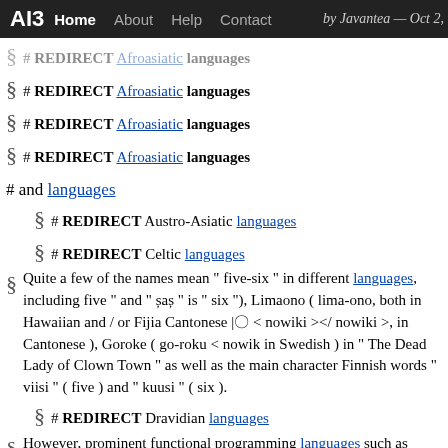AI3  Home  About  Help  Contact  by Javantea — Oct 2,
§ # REDIRECT Afroasiatic languages (faded)
§ # REDIRECT Afroasiatic languages
§ # REDIRECT Afroasiatic languages
§ # REDIRECT Afroasiatic languages
# and languages
§ # REDIRECT Austro-Asiatic languages
§ # REDIRECT Celtic languages
§ Quite a few of the names mean " five-six " in different languages, including five " and " șaș " is " six "), Limaono ( lima-ono, both in Hawaiian and / or Fijia Cantonese |〇 < nowiki ></ nowiki >, in Cantonese ), Goroke ( go-roku < nowik in Swedish ) in " The Dead Lady of Clown Town " as well as the main character Finnish words " viisi " ( five ) and " kuusi " ( six ).
§ # REDIRECT Dravidian languages
§ However, prominent functional programming languages such as Common been used in industrial and commercial applications by a wide variety of organiz
§ # REDIRECT Finno-Ugric languages
§ # to give a description of the original grammatical structure of the language
§ # REDIRECT Germanic languages
§ # redirect Goidelic languages
§ # REDIRECT Goidelic languages
§ # Semitic languages ( Hebrew, Arabic, Aramaic, Amharic, etc.